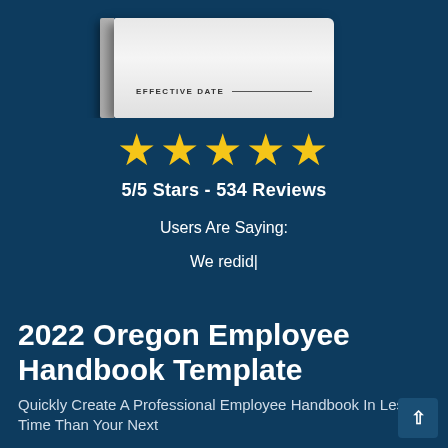[Figure (photo): Partial view of an employee handbook book cover showing 'EFFECTIVE DATE ___' text at the top of a white/gray book with spine, photographed at an angle against a dark blue background]
★★★★★
5/5 Stars - 534 Reviews
Users Are Saying:
We redid|
2022 Oregon Employee Handbook Template
Quickly Create A Professional Employee Handbook In Less Time Than Your Next